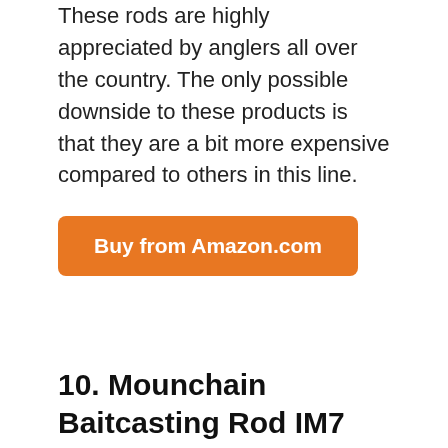These rods are highly appreciated by anglers all over the country. The only possible downside to these products is that they are a bit more expensive compared to others in this line.
Buy from Amazon.com
10. Mounchain Baitcasting Rod IM7 Carbon Fiber